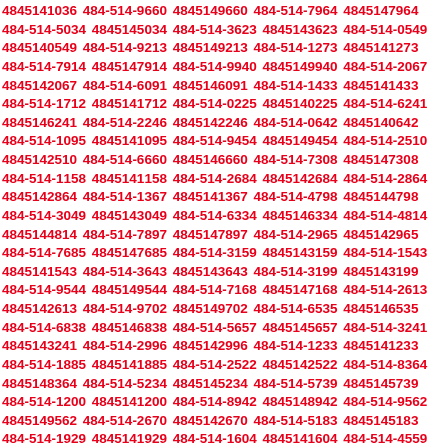4845141036 484-514-9660 4845149660 484-514-7964 4845147964 484-514-5034 4845145034 484-514-3623 4845143623 484-514-0549 4845140549 484-514-9213 4845149213 484-514-1273 4845141273 484-514-7914 4845147914 484-514-9940 4845149940 484-514-2067 4845142067 484-514-6091 4845146091 484-514-1433 4845141433 484-514-1712 4845141712 484-514-0225 4845140225 484-514-6241 4845146241 484-514-2246 4845142246 484-514-0642 4845140642 484-514-1095 4845141095 484-514-9454 4845149454 484-514-2510 4845142510 484-514-6660 4845146660 484-514-7308 4845147308 484-514-1158 4845141158 484-514-2684 4845142684 484-514-2864 4845142864 484-514-1367 4845141367 484-514-4798 4845144798 484-514-3049 4845143049 484-514-6334 4845146334 484-514-4814 4845144814 484-514-7897 4845147897 484-514-2965 4845142965 484-514-7685 4845147685 484-514-3159 4845143159 484-514-1543 4845141543 484-514-3643 4845143643 484-514-3199 4845143199 484-514-9544 4845149544 484-514-7168 4845147168 484-514-2613 4845142613 484-514-9702 4845149702 484-514-6535 4845146535 484-514-6838 4845146838 484-514-5657 4845145657 484-514-3241 4845143241 484-514-2996 4845142996 484-514-1233 4845141233 484-514-1885 4845141885 484-514-2522 4845142522 484-514-8364 4845148364 484-514-5234 4845145234 484-514-5739 4845145739 484-514-1200 4845141200 484-514-8942 4845148942 484-514-9562 4845149562 484-514-2670 4845142670 484-514-5183 4845145183 484-514-1929 4845141929 484-514-1604 4845141604 484-514-4559 4845144559 484-514-2910 4845142910 484-514-1046 4845141046